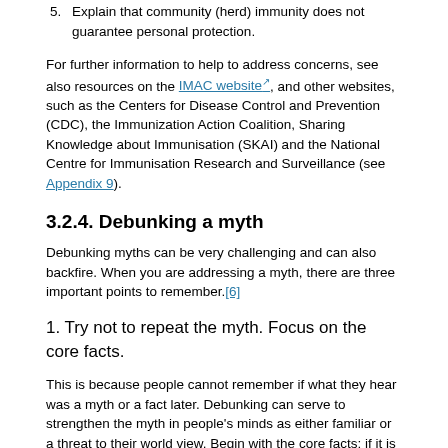5. Explain that community (herd) immunity does not guarantee personal protection.
For further information to help to address concerns, see also resources on the IMAC website, and other websites, such as the Centers for Disease Control and Prevention (CDC), the Immunization Action Coalition, Sharing Knowledge about Immunisation (SKAI) and the National Centre for Immunisation Research and Surveillance (see Appendix 9).
3.2.4. Debunking a myth
Debunking myths can be very challenging and can also backfire. When you are addressing a myth, there are three important points to remember.[6]
1. Try not to repeat the myth. Focus on the core facts.
This is because people cannot remember if what they hear was a myth or a fact later. Debunking can serve to strengthen the myth in people's minds as either familiar or a threat to their world view. Begin with the core facts; if it is easy to do in a few clear words, state what is true.